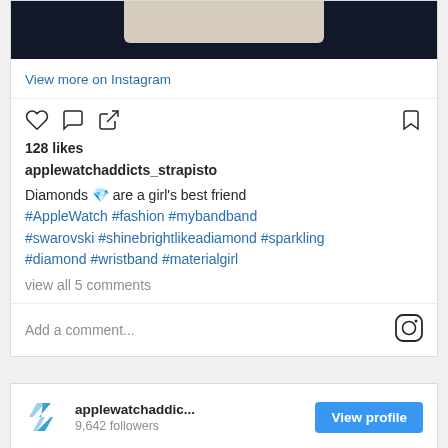[Figure (screenshot): Instagram post screenshot showing a watch strap with diamonds. Top portion shows dark background with white strap visible.]
View more on Instagram
[Figure (other): Instagram action icons: heart (like), speech bubble (comment), share arrow, and bookmark]
128 likes
applewatchaddicts_strapisto
Diamonds 💎 are a girl's best friend #AppleWatch #fashion #mybandband #swarovski #shinebrightlikeadiamond #sparkling #diamond #wristband #materialgirl
view all 5 comments
Add a comment...
[Figure (logo): Instagram logo icon]
[Figure (logo): Strapisto brand logo - blue geometric mark]
applewatchaddic...
9,642 followers
View profile
[Figure (photo): Bottom portion of watch strap image on dark background]